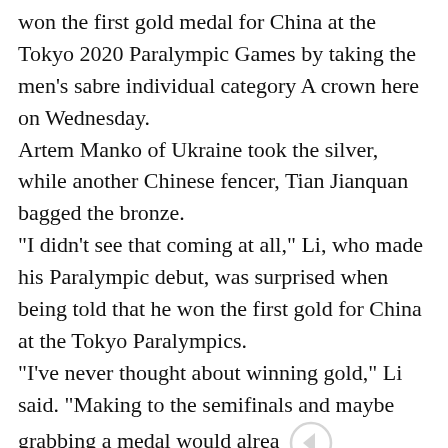TOKYO, Aug 25 (Xinhua) -- Wheelchair fencer Li Hao won the first gold medal for China at the Tokyo 2020 Paralympic Games by taking the men's sabre individual category A crown here on Wednesday. Artem Manko of Ukraine took the silver, while another Chinese fencer, Tian Jianquan bagged the bronze. "I didn't see that coming at all," Li, who made his Paralympic debut, was surprised when being told that he won the first gold for China at the Tokyo Paralympics. "I've never thought about winning gold," Li said. "Making to the semifinals and maybe grabbing a medal would alrea live up to my expectations." Starting strong with a 3-1 lead in the final, things then wen south for Li as his opponent scored consecutively to go 8-4 ahead. With instructions from his coach and some self-adjustment